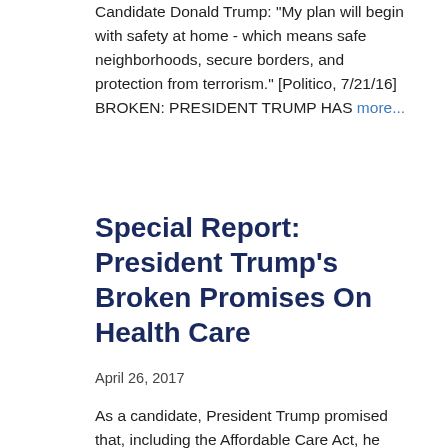Candidate Donald Trump: "My plan will begin with safety at home - which means safe neighborhoods, secure borders, and protection from terrorism." [Politico, 7/21/16] BROKEN: PRESIDENT TRUMP HAS more...
Special Report: President Trump's Broken Promises On Health Care
April 26, 2017
As a candidate, President Trump promised that, including the Affordable Care Act, he would...